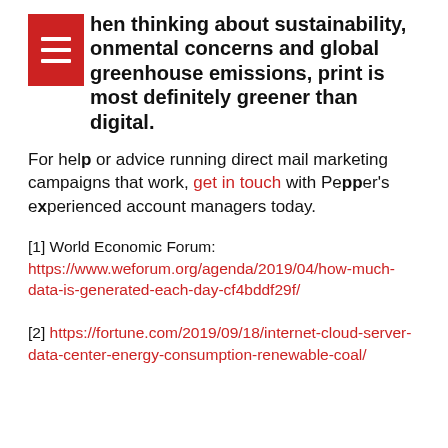When thinking about sustainability, environmental concerns and global greenhouse emissions, print is most definitely greener than digital.
For help or advice running direct mail marketing campaigns that work, get in touch with Pepper's experienced account managers today.
[1] World Economic Forum: https://www.weforum.org/agenda/2019/04/how-much-data-is-generated-each-day-cf4bddf29f/
[2] https://fortune.com/2019/09/18/internet-cloud-server-data-center-energy-consumption-renewable-coal/